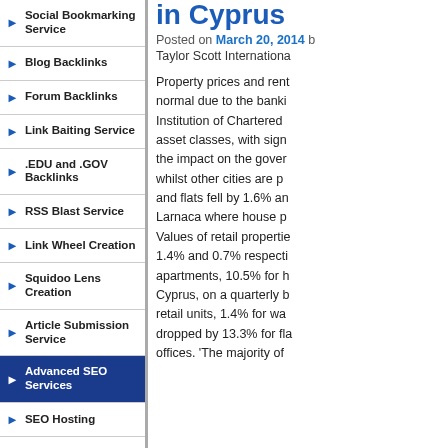Social Bookmarking Service
Blog Backlinks
Forum Backlinks
Link Baiting Service
.EDU and .GOV Backlinks
RSS Blast Service
Link Wheel Creation
Squidoo Lens Creation
Article Submission Service
Advanced SEO Services
SEO Hosting
Free SEO Report
Keyword Research
in Cyprus
Posted on March 20, 2014 b
Taylor Scott Internationa
Property prices and rent normal due to the banki Institution of Chartered asset classes, with sign the impact on the gover whilst other cities are p and flats fell by 1.6% an Larnaca where house p Values of retail propertie 1.4% and 0.7% respecti apartments, 10.5% for h Cyprus, on a quarterly b retail units, 1.4% for war dropped by 13.3% for fla offices. 'The majority of